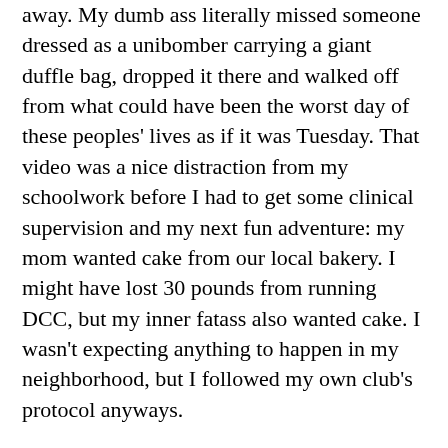away.  My dumb ass literally missed someone dressed as a unibomber carrying a giant duffle bag, dropped it there and walked off from what could have been the worst day of these peoples' lives as if it was Tuesday.  That video was a nice distraction from my schoolwork before I had to get some clinical supervision and my next fun adventure: my mom wanted cake from our local bakery.  I might have lost 30 pounds from running DCC, but my inner fatass also wanted cake.  I wasn't expecting anything to happen in my neighborhood, but I followed my own club's protocol anyways.

On my way home from the bakery while carrying cake and wearing my helmet, there was a tall guy without a mask that was following me from behind.  I realized it was a